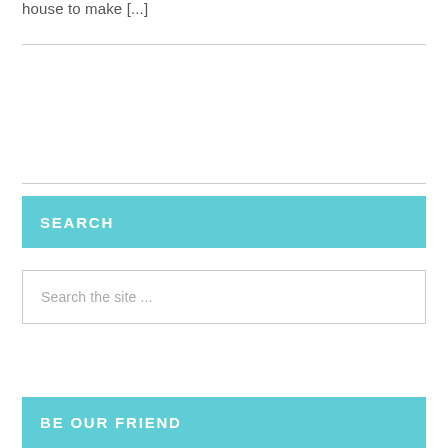house to make [...]
SEARCH
Search the site ...
BE OUR FRIEND